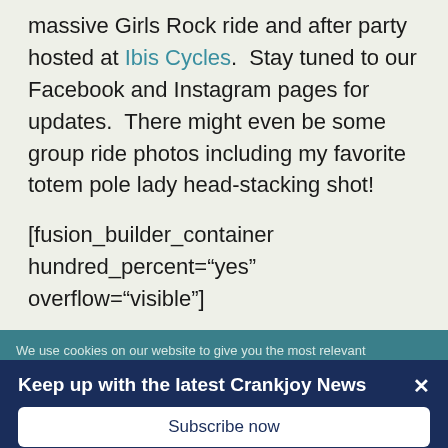massive Girls Rock ride and after party hosted at Ibis Cycles. Stay tuned to our Facebook and Instagram pages for updates. There might even be some group ride photos including my favorite totem pole lady head-stacking shot!
[fusion_builder_container hundred_percent="yes" overflow="visible"]
We use cookies on our website to give you the most relevant experience by remembering your preferences and repeat visits. By clicking "Accept All", you consent to the use of ALL
Keep up with the latest Crankjoy News
Subscribe now